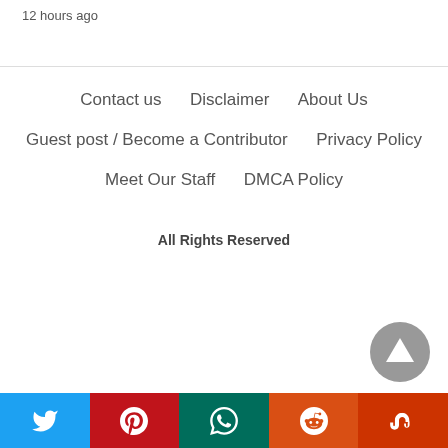12 hours ago
Contact us   Disclaimer   About Us
Guest post / Become a Contributor   Privacy Policy
Meet Our Staff   DMCA Policy
All Rights Reserved
[Figure (other): Scroll-to-top button: dark grey circle with white upward triangle arrow]
[Figure (other): Social sharing bar with Twitter (blue), Pinterest (red), WhatsApp (teal), Reddit (orange-red), StumbleUpon (dark red) buttons]